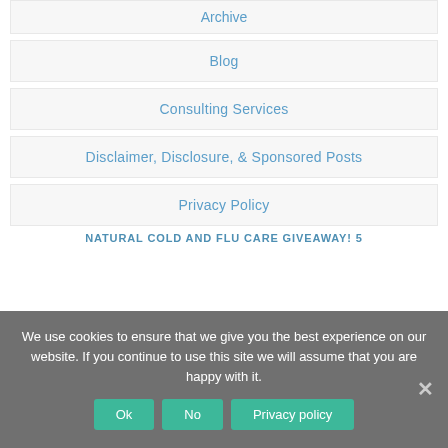Archive
Blog
Consulting Services
Disclaimer, Disclosure, & Sponsored Posts
Privacy Policy
NATURAL COLD AND FLU CARE GIVEAWAY! 5
We use cookies to ensure that we give you the best experience on our website. If you continue to use this site we will assume that you are happy with it.
Ok
No
Privacy policy